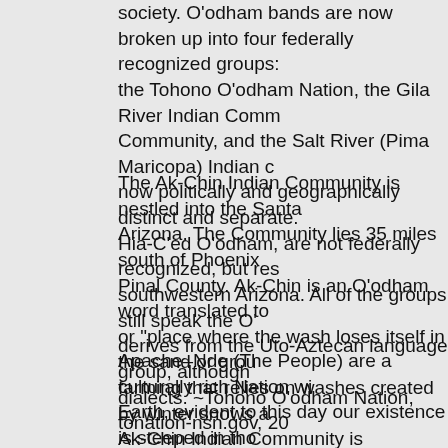society. O'odham bands are now broken up into four federally recognized groups: the Tohono O'odham Nation, the Gila River Indian Community, the Akimel O'odham Community, and the Salt River (Pima Maricopa) Indian community. These four bands are now politically and geographically distinct and separate. Other bands, such as the Hia-C'ed O'odham, are not federally recognized, but reside mostly in southwestern Arizona. All of the groups still speak the O'odham language, which derives from the Uto-Aztecan language group, although there are some distinct dialects. ~Tohono O'odham Nation, tonation-nsn.gov, 20
The Ak-Chin Indian Community is nestled into the Santa Cruz Flats of central Arizona. The Community lies 35 miles south of Phoenix in Maricopa County and Pinal County. Ak-Chin is an O'odham word translated to mean "mouth of the wash" or "place where the wash loses itself in the sand or ground". This term describes farming that relies on washes created by winter snows and summer rains. The Ak-Chin Indian Community is composed mainly of Akimel O'odham and Tohono O'odham as well as some Hia-Ced O'odham members. With approximately 1,100 tribal members. ~Ak-Chin Indian Community, ak-c
Apache–Nde (The People) are a culturally rich Nation with deep roots in the Earth, evident to this day our existence is steeped in those roots as we believe in descending knowledge passed down generational sin ~Apache Nation Chamber of Commerce, sancarlosapac